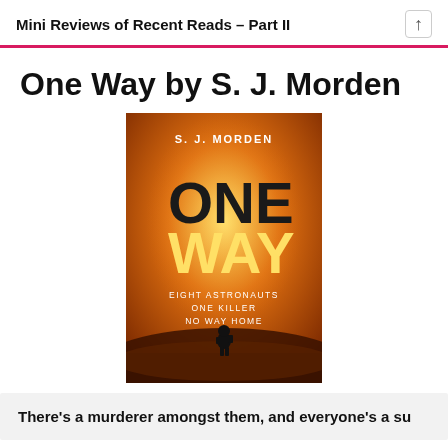Mini Reviews of Recent Reads – Part II
One Way by S. J. Morden
[Figure (photo): Book cover of 'One Way' by S. J. Morden. Orange/amber background with a lone astronaut figure on rocky terrain. Text reads: S. J. MORDEN, ONE WAY, EIGHT ASTRONAUTS, ONE KILLER, NO WAY HOME.]
There's a murderer amongst them, and everyone's a su